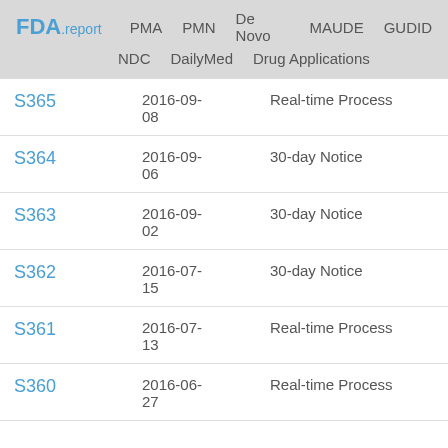FDA.report  PMA  PMN  De Novo  MAUDE  GUDID  NDC  DailyMed  Drug Applications
| ID | Date | Type |
| --- | --- | --- |
| S365 | 2016-09-08 | Real-time Process |
| S364 | 2016-09-06 | 30-day Notice |
| S363 | 2016-09-02 | 30-day Notice |
| S362 | 2016-07-15 | 30-day Notice |
| S361 | 2016-07-13 | Real-time Process |
| S360 | 2016-06-27 | Real-time Process |